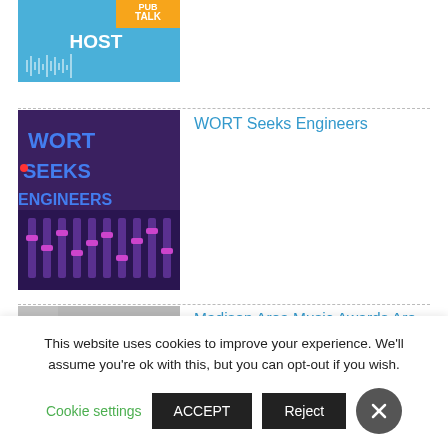[Figure (illustration): Partial podcast/talk show thumbnail showing 'TALK HOST' text and audio waveform on blue background]
[Figure (illustration): WORT Seeks Engineers - image of audio mixing board with text overlay reading 'WORT SEEKS ENGINEERS']
WORT Seeks Engineers
[Figure (photo): Partial thumbnail for Madison Area Music Awards showing a microphone on grey background]
Madison Area Music Awards Are Back!
This website uses cookies to improve your experience. We'll assume you're ok with this, but you can opt-out if you wish.
Cookie settings  ACCEPT  Reject